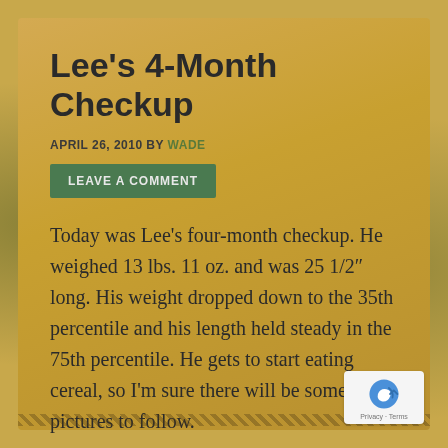Lee’s 4-Month Checkup
APRIL 26, 2010 BY WADE
LEAVE A COMMENT
Today was Lee’s four-month checkup.  He weighed 13 lbs. 11 oz. and was 25 1/2″ long.  His weight dropped down to the 35th percentile and his length held steady in the 75th percentile.  He gets to start eating cereal, so I’m sure there will be some good pictures to follow.
FILED UNDER: LIFE